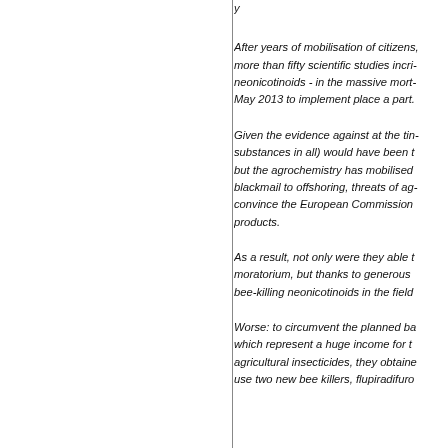After years of mobilisation of citizens, more than fifty scientific studies incriminating neonicotinoids - in the massive mortality... May 2013 to implement place a part.
Given the evidence against at the time, substances in all) would have been b... but the agrochemistry has mobilised... blackmail to offshoring, threats of ag... convince the European Commission... products.
As a result, not only were they able t... moratorium, but thanks to generous ... bee-killing neonicotinoids in the field...
Worse: to circumvent the planned ba... which represent a huge income for t... agricultural insecticides, they obtaine... use two new bee killers, flupiradifuro...